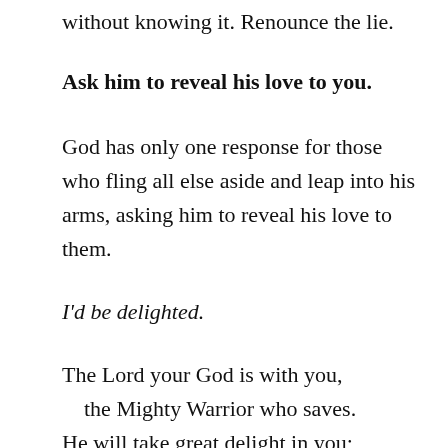without knowing it. Renounce the lie.
Ask him to reveal his love to you.
God has only one response for those who fling all else aside and leap into his arms, asking him to reveal his love to them.
I'd be delighted.
The Lord your God is with you,
    the Mighty Warrior who saves.
He will take great delight in you;
    in his love he will no longer rebuke you,